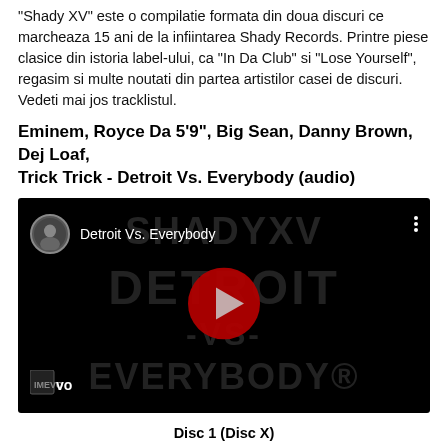"Shady XV" este o compilatie formata din doua discuri ce marcheaza 15 ani de la infiintarea Shady Records. Printre piese clasice din istoria label-ului, ca "In Da Club" si "Lose Yourself", regasim si multe noutati din partea artistilor casei de discuri. Vedeti mai jos tracklistul.
Eminem, Royce Da 5'9", Big Sean, Danny Brown, Dej Loaf, Trick Trick - Detroit Vs. Everybody (audio)
[Figure (screenshot): YouTube video embed showing 'Detroit Vs. Everybody' music video with black background, SHADYXV and DETROIT -VS- EVERYBODY watermark text, YouTube play button, and VEVO logo]
Disc 1 (Disc X)
Eminem, "ShadyXV"
Slaughterhouse (featuring Eminem and Yelawolf), "Psychopath Killer"